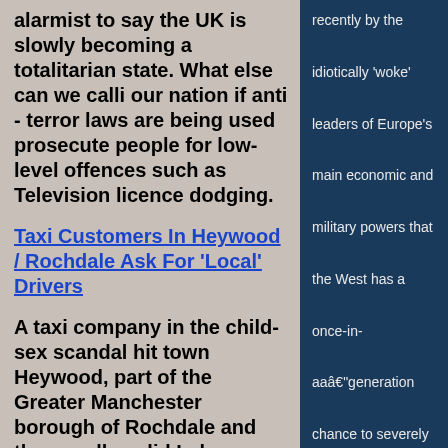alarmist to say the UK is slowly becoming a totalitarian state. What else can we calli our nation if anti - terror laws are being used prosecute people for low-level offences such as Television licence dodging.
Taxi Customers In Heywood / Rochdale Ask For 'Local' Drivers
A taxi company in the child-sex scandal hit town Heywood, part of the Greater Manchester borough of Rochdale and the usually solid Labour parliamentary constituency almost won by Libertarian Party UKIP in a recent by election is now
recently by the idiotically 'woke' leaders of Europe's main economic and military powers that the West has a once-in-a​–​generation chance to severely weaken Russia​'​s capabilities, both militarily and geopolitically, look increasingly hollow. Putin's critics have